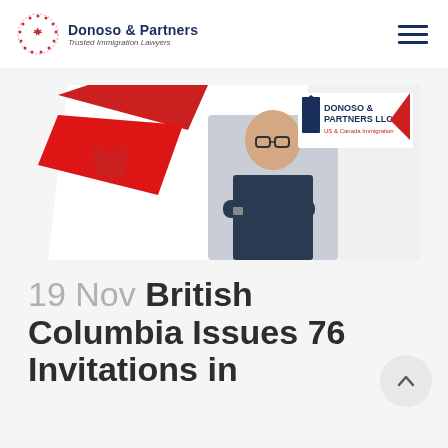Donoso & Partners — Trusted Immigration Lawyers
[Figure (photo): Banner image showing a man with glasses and crossed arms smiling, with a Canadian flag ribbon on the left and Donoso & Partners LLC logo on the right]
19 Nov British Columbia Issues 76 Invitations in